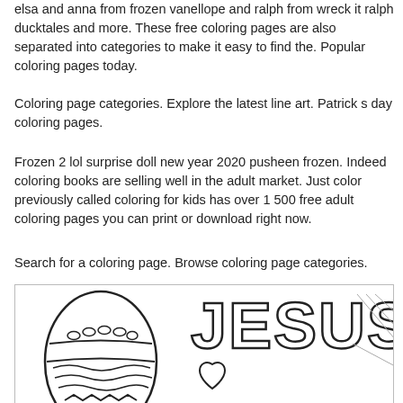elsa and anna from frozen vanellope and ralph from wreck it ralph ducktales and more. These free coloring pages are also separated into categories to make it easy to find the. Popular coloring pages today.
Coloring page categories. Explore the latest line art. Patrick s day coloring pages.
Frozen 2 lol surprise doll new year 2020 pusheen frozen. Indeed coloring books are selling well in the adult market. Just color previously called coloring for kids has over 1 500 free adult coloring pages you can print or download right now.
Search for a coloring page. Browse coloring page categories.
[Figure (illustration): A coloring page illustration showing a decorated Easter egg on the left with oval and wave patterns, and large bubble letters spelling 'JESUS' on the right with a heart shape below, in black and white outline style for coloring.]